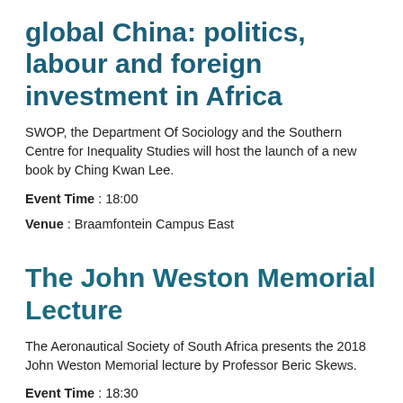global China: politics, labour and foreign investment in Africa
SWOP, the Department Of Sociology and the Southern Centre for Inequality Studies will host the launch of a new book by Ching Kwan Lee.
Event Time : 18:00
Venue : Braamfontein Campus East
The John Weston Memorial Lecture
The Aeronautical Society of South Africa presents the 2018 John Weston Memorial lecture by Professor Beric Skews.
Event Time : 18:30